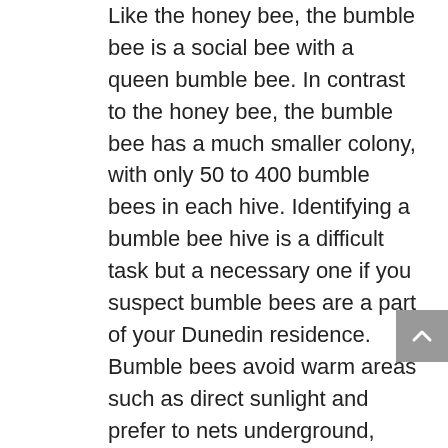Like the honey bee, the bumble bee is a social bee with a queen bumble bee. In contrast to the honey bee, the bumble bee has a much smaller colony, with only 50 to 400 bumble bees in each hive. Identifying a bumble bee hive is a difficult task but a necessary one if you suspect bumble bees are a part of your Dunedin residence. Bumble bees avoid warm areas such as direct sunlight and prefer to nets underground, often in burrows. If they do nest above ground, odds are the bumble bees will be protected from the Florida heat by nesting in tree trunks or thick, shady areas. Once located, a bumble bee hive can be distinguished by its disorganized clumped cellular structure.
Bumble bees are tremendous pollinators and vital to Floridian ecosystems. With their population decline lately, it is vital that if you find a bumblebee hive near your home to call Bee Man Stan so he can safely remove the hive from your home and relocate